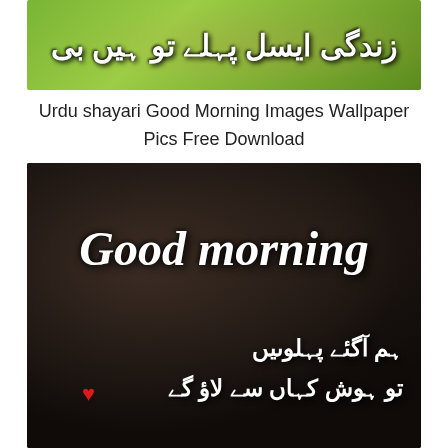[Figure (photo): Top cropped image with green background and Urdu text in white with dark outline, partially visible]
Urdu shayari Good Morning Images Wallpaper Pics Free Download
[Figure (photo): Dark romantic image of a couple with 'Good morning' text in white italic serif font, and Urdu shayari text below with a red heart symbol]